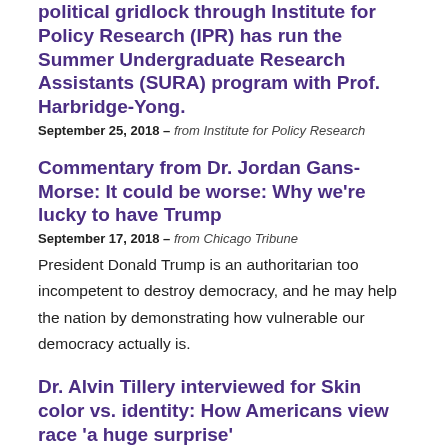political gridlock through Institute for Policy Research (IPR) has run the Summer Undergraduate Research Assistants (SURA) program with Prof. Harbridge-Yong.
September 25, 2018 – from Institute for Policy Research
Commentary from Dr. Jordan Gans-Morse: It could be worse: Why we're lucky to have Trump
September 17, 2018 – from Chicago Tribune
President Donald Trump is an authoritarian too incompetent to destroy democracy, and he may help the nation by demonstrating how vulnerable our democracy actually is.
Dr. Alvin Tillery interviewed for Skin color vs. identity: How Americans view race 'a huge surprise'
September 17, 2018 – from Chicago Tribune
Study conducted by Alvin Tillery of CSDD explores how